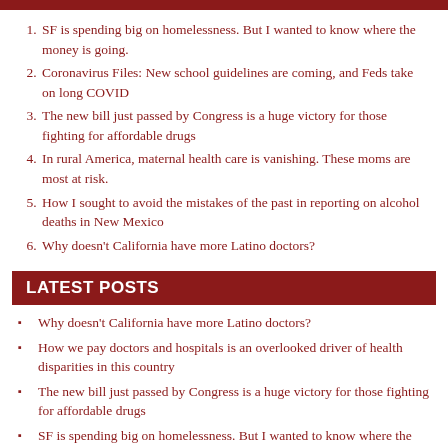SF is spending big on homelessness. But I wanted to know where the money is going.
Coronavirus Files: New school guidelines are coming, and Feds take on long COVID
The new bill just passed by Congress is a huge victory for those fighting for affordable drugs
In rural America, maternal health care is vanishing. These moms are most at risk.
How I sought to avoid the mistakes of the past in reporting on alcohol deaths in New Mexico
Why doesn't California have more Latino doctors?
LATEST POSTS
Why doesn't California have more Latino doctors?
How we pay doctors and hospitals is an overlooked driver of health disparities in this country
The new bill just passed by Congress is a huge victory for those fighting for affordable drugs
SF is spending big on homelessness. But I wanted to know where the money is going.
Coronavirus Files: New school guidelines are coming, and